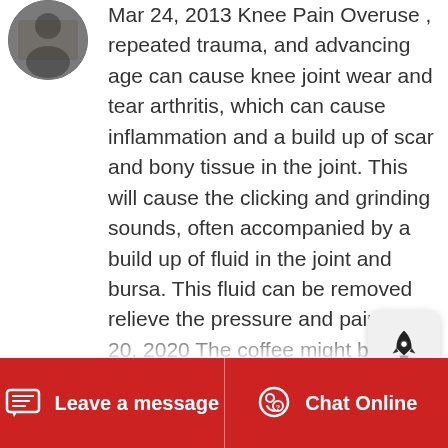[Figure (photo): Circular avatar photo of a user, showing a person, used as profile image in a chat or forum post.]
Mar 24, 2013 Knee Pain Overuse , repeated trauma, and advancing age can cause knee joint wear and tear arthritis, which can cause inflammation and a build up of scar and bony tissue in the joint. This will cause the clicking and grinding sounds, often accompanied by a build up of fluid in the joint and bursa. This fluid can be removed relieve the pressure and pain. Apr 20, 2020 The coffee might be ground too coarse. You need a fine grind for espresso Any one of these aspects could cause this problem. You essentially have a weak
[Figure (screenshot): Rocket icon button — a floating rounded-rectangle UI widget with a rocket ship glyph in the center, used as a chat or notification launcher.]
Leave a message   Chat Online